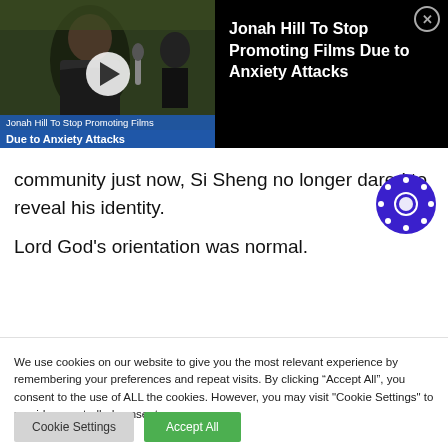[Figure (screenshot): Video thumbnail with play button showing Jonah Hill at a media event with caption overlay reading 'Jonah Hill To Stop Promoting Films Due to Anxiety Attacks']
Jonah Hill To Stop Promoting Films Due to Anxiety Attacks
community just now, Si Sheng no longer dared to reveal his identity.
Lord God's orientation was normal.
We use cookies on our website to give you the most relevant experience by remembering your preferences and repeat visits. By clicking “Accept All”, you consent to the use of ALL the cookies. However, you may visit "Cookie Settings" to provide a controlled consent.